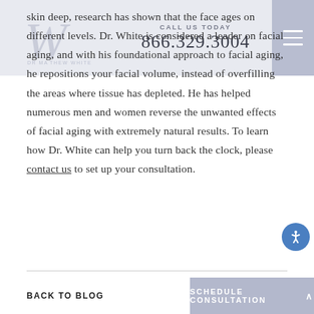DR. MATTHEW WHITE | CALL US TODAY 866.329.3004
skin deep, research has shown that the face ages on different levels. Dr. White is considered a leader on facial aging, and with his foundational approach to facial aging, he repositions your facial volume, instead of overfilling the areas where tissue has depleted. He has helped numerous men and women reverse the unwanted effects of facial aging with extremely natural results. To learn how Dr. White can help you turn back the clock, please contact us to set up your consultation.
BACK TO BLOG | SCHEDULE CONSULTATION